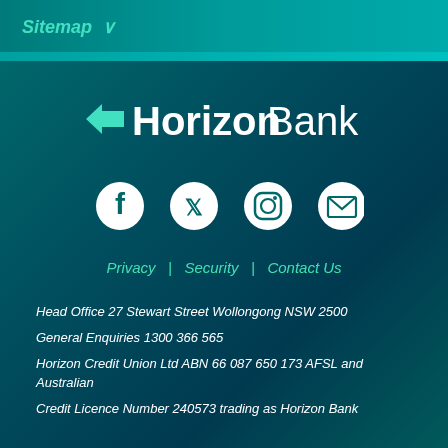Sitemap ∨
[Figure (logo): Horizon Bank logo with white text and teal arrow accent]
[Figure (infographic): Social media icons: Facebook, Twitter, Instagram, Email]
Privacy  Security  Contact Us
Head Office 27 Stewart Street Wollongong NSW 2500
General Enquiries 1300 366 565
Horizon Credit Union Ltd ABN 66 087 650 173 AFSL and Australian Credit Licence Number 240573 trading as Horizon Bank